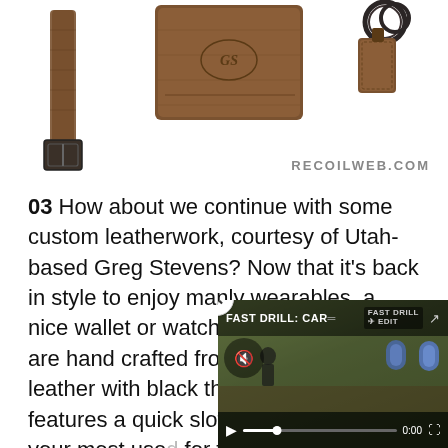[Figure (photo): Three leather items on white background: a watch strap with buckle on left, a wallet/card holder in center with logo, and a key fob/ring on right. All made from dark brown coffee leather.]
RECOILWEB.COM
03 How about we continue with some custom leatherwork, courtesy of Utah-based Greg Stevens? Now that it's back in style to enjoy manly wearables, a nice wallet or watch is a must. These are hand crafted from Horween Coffee leather with black thread. The wallet features a quick slot on the back for your most use... for three to four more insic... and concealed carry perm... cash. The watch strap will... key fob improves your sw...
[Figure (screenshot): Video overlay showing 'FAST DRILL: CAR...' with playback controls, mute icon, play button, progress bar at 0:00, and fullscreen icon. Has a close X button. Background shows outdoor shooting range scene.]